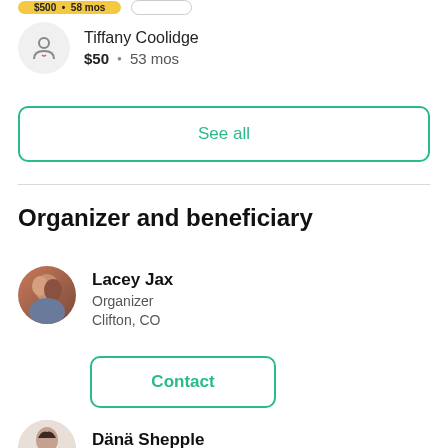$500 • 58 mos
Tiffany Coolidge
$50 • 53 mos
See all
Organizer and beneficiary
Lacey Jax
Organizer
Clifton, CO
Contact
Dänä Shepple
Beneficiary